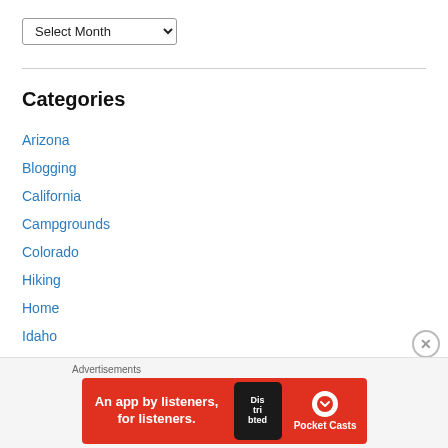Categories
Arizona
Blogging
California
Campgrounds
Colorado
Hiking
Home
Idaho
Illinois
In the Kitchen
Ingrid's Corner
[Figure (screenshot): Advertisement banner for Pocket Casts app: red background with text 'An app by listeners, for listeners.' and Pocket Casts logo]